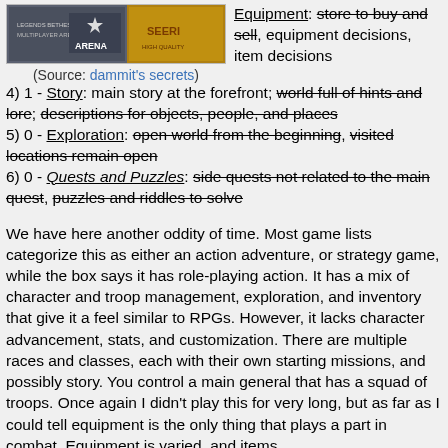[Figure (photo): Game cover images for Arena and another game side by side]
(Source: dammit's secrets)
Equipment: store to buy and sell, equipment decisions, item decisions
4) 1 - Story: main story at the forefront; world full of hints and lore; descriptions for objects, people, and places
5) 0 - Exploration: open world from the beginning, visited locations remain open
6) 0 - Quests and Puzzles: side quests not related to the main quest, puzzles and riddles to solve
We have here another oddity of time. Most game lists categorize this as either an action adventure, or strategy game, while the box says it has role-playing action. It has a mix of character and troop management, exploration, and inventory that give it a feel similar to RPGs. However, it lacks character advancement, stats, and customization. There are multiple races and classes, each with their own starting missions, and possibly story. You control a main general that has a squad of troops. Once again I didn't play this for very long, but as far as I could tell equipment is the only thing that plays a part in combat. Equipment is varied, and items